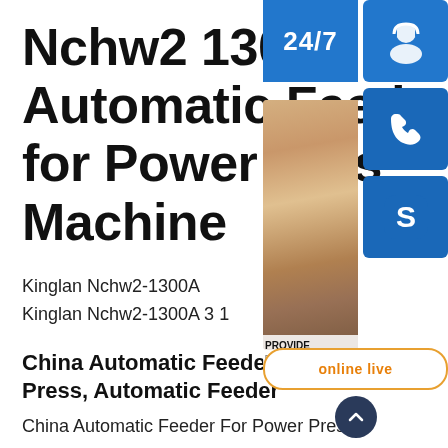Nchw2 1300A Automatic Feeder for Power Press Machine
Kinglan Nchw2-1300A
Kinglan Nchw2-1300A 3 1
China Automatic Feeder For P… Press, Automatic Feeder
China Automatic Feeder For Power Press manufacturers - Select 2021 high quality Automatic Feeder For Power Press products in best price from certified Chinese Automatic Machine, Machine For Plastic suppliers,
[Figure (infographic): Customer service overlay panel with 24/7 badge, headset-wearing woman photo, blue icon buttons for chat, phone and Skype, PROVIDE/Empowering Customers text, and orange 'online live' button]